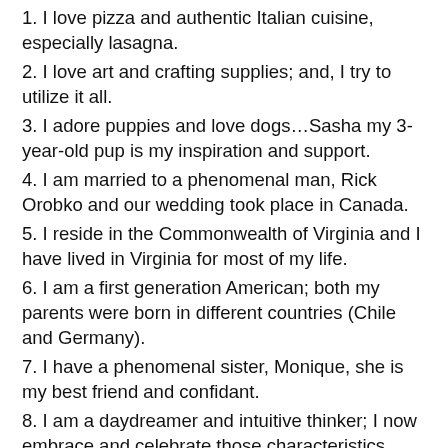1. I love pizza and authentic Italian cuisine, especially lasagna.
2. I love art and crafting supplies; and, I try to utilize it all.
3. I adore puppies and love dogs…Sasha my 3-year-old pup is my inspiration and support.
4. I am married to a phenomenal man, Rick Orobko and our wedding took place in Canada.
5. I reside in the Commonwealth of Virginia and I have lived in Virginia for most of my life.
6. I am a first generation American; both my parents were born in different countries (Chile and Germany).
7. I have a phenomenal sister, Monique, she is my best friend and confidant.
8. I am a daydreamer and intuitive thinker; I now embrace and celebrate those characteristics.
9. I feel connected with everyone; and, with the dawning of the Internet, the connection feels even more...